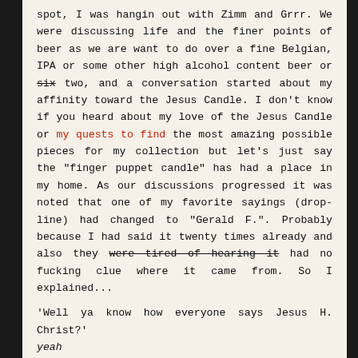spot, I was hangin out with Zimm and Grrr. We were discussing life and the finer points of beer as we are want to do over a fine Belgian, IPA or some other high alcohol content beer or six two, and a conversation started about my affinity toward the Jesus Candle. I don't know if you heard about my love of the Jesus Candle or my quests to find the most amazing possible pieces for my collection but let's just say the "finger puppet candle" has had a place in my home. As our discussions progressed it was noted that one of my favorite sayings (drop-line) had changed to "Gerald F.". Probably because I had said it twenty times already and also they were tired of hearing it had no fucking clue where it came from. So I explained...

'Well ya know how everyone says Jesus H. Christ?'
yeah
'I was tired of dealing with the dirty looks and all the bullshit that the 'thumpy peeps' give plus you can't just blurt out Jesus H. Christ in front of a bunch of kids so I needed something else to say. I was gonna go with 'Buddy Christ' but it doesn't fix my problem, and frankly George Carlin giving a thumbs up isn't the attitude I'm